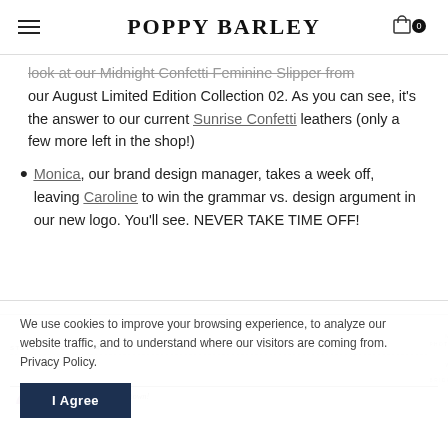POPPY BARLEY
look at our Midnight Confetti Feminine Slipper from our August Limited Edition Collection 02. As you can see, it's the answer to our current Sunrise Confetti leathers (only a few more left in the shop!)
Monica, our brand design manager, takes a week off, leaving Caroline to win the grammar vs. design argument in our new logo. You'll see. NEVER TAKE TIME OFF!
[Figure (screenshot): Magazine-style clipping showing 'STYLE // RADIANT ORCHID' heading, a purple circle labeled 'COLOUR CRUSH', italic title 'There's a new hue in town!', and body text about Radiant Orchid.]
We use cookies to improve your browsing experience, to analyze our website traffic, and to understand where our visitors are coming from. Privacy Policy.
I Agree